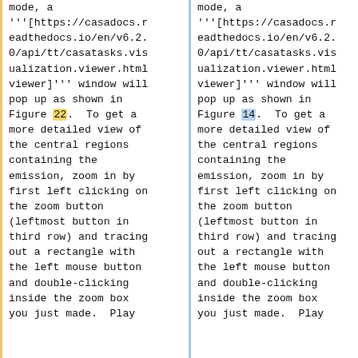mode, a '''[https://casadocs.readthedocs.io/en/v6.2.0/api/tt/casatasks.visualization.viewer.html viewer]''' window will pop up as shown in Figure 22.  To get a more detailed view of the central regions containing the emission, zoom in by first left clicking on the zoom button (leftmost button in third row) and tracing out a rectangle with the left mouse button and double-clicking inside the zoom box you just made.  Play
mode, a '''[https://casadocs.readthedocs.io/en/v6.2.0/api/tt/casatasks.visualization.viewer.html viewer]''' window will pop up as shown in Figure 14.  To get a more detailed view of the central regions containing the emission, zoom in by first left clicking on the zoom button (leftmost button in third row) and tracing out a rectangle with the left mouse button and double-clicking inside the zoom box you just made.  Play